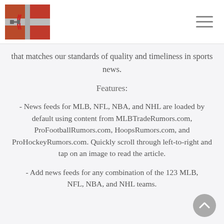[Logo: baseball/sports app icon] [Hamburger menu icon]
that matches our standards of quality and timeliness in sports news.
Features:
- News feeds for MLB, NFL, NBA, and NHL are loaded by default using content from MLBTradeRumors.com, ProFootballRumors.com, HoopsRumors.com, and ProHockeyRumors.com. Quickly scroll through left-to-right and tap on an image to read the article.
- Add news feeds for any combination of the 123 MLB, NFL, NBA, and NHL teams.